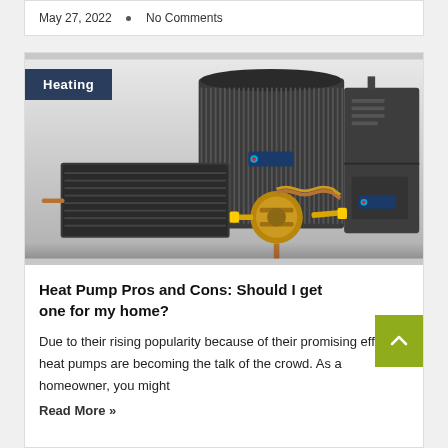May 27, 2022 • No Comments
[Figure (photo): HVAC equipment including an air conditioner condenser unit, furnace/air handler, evaporator coil, and expansion valve components. A dark navy 'Heating' badge overlay appears in the top-left of the image.]
Heat Pump Pros and Cons: Should I get one for my home?
Due to their rising popularity because of their promising effects, heat pumps are becoming the talk of the crowd. As a homeowner, you might
Read More »